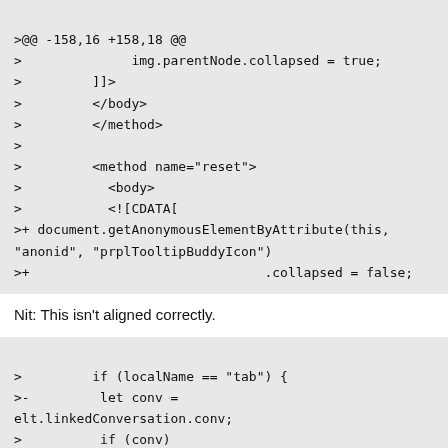[Figure (screenshot): Code diff block showing lines: >@@ -158,16 +158,18 @@ > img.parentNode.collapsed = true; > ]]> > </body> > </method> > > <method name="reset"> > <body> > <![CDATA[ >+ document.getAnonymousElementByAttribute(this, "anonid", "prplTooltipBuddyIcon") >+                              .collapsed = false;]
Nit: This isn't aligned correctly.
[Figure (screenshot): Code diff block showing lines: >         if (localName == "tab") { >-         let conv = elt.linkedConversation.conv; >          if (conv)]